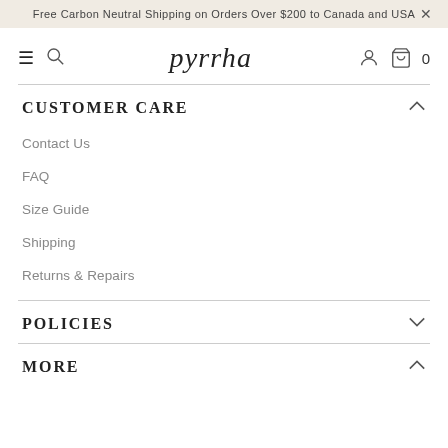Free Carbon Neutral Shipping on Orders Over $200 to Canada and USA
[Figure (logo): Pyrrha brand logo with navigation icons (hamburger menu, search, user account, shopping bag with 0 items)]
CUSTOMER CARE
Contact Us
FAQ
Size Guide
Shipping
Returns & Repairs
POLICIES
MORE